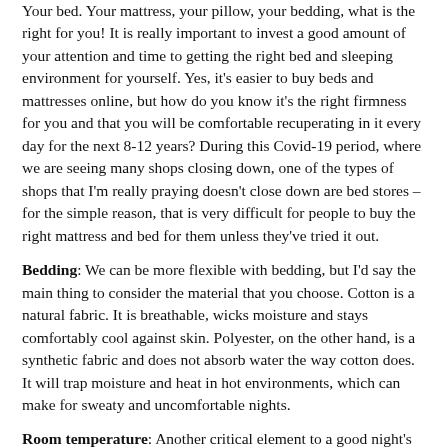Your bed. Your mattress, your pillow, your bedding, what is the right for you! It is really important to invest a good amount of your attention and time to getting the right bed and sleeping environment for yourself. Yes, it's easier to buy beds and mattresses online, but how do you know it's the right firmness for you and that you will be comfortable recuperating in it every day for the next 8-12 years? During this Covid-19 period, where we are seeing many shops closing down, one of the types of shops that I'm really praying doesn't close down are bed stores – for the simple reason, that is very difficult for people to buy the right mattress and bed for them unless they've tried it out.
Bedding: We can be more flexible with bedding, but I'd say the main thing to consider the material that you choose. Cotton is a natural fabric. It is breathable, wicks moisture and stays comfortably cool against skin. Polyester, on the other hand, is a synthetic fabric and does not absorb water the way cotton does. It will trap moisture and heat in hot environments, which can make for sweaty and uncomfortable nights.
Room temperature: Another critical element to a good night's sleep. In the summer we all know how difficult it can be to sleep well. If you don't have an air conditioner in your bedroom, then we